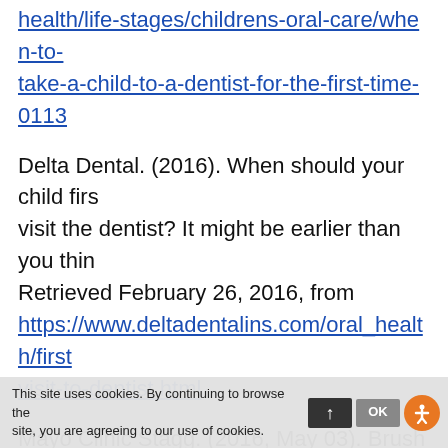health/life-stages/childrens-oral-care/when-to-take-a-child-to-a-dentist-for-the-first-time-0113
Delta Dental. (2016). When should your child first visit the dentist? It might be earlier than you think. Retrieved February 26, 2016, from https://www.deltadentalins.com/oral_health/first-visit-to-dentist.html
Mayo Clinic Stagg. (2016, May 03). Brush Up on Taking Care of Your Teeth. Retrieved February 2, 2018, from https://www.mayoclinic.org/healthy-lifestyle/adult-health/in-depth/dental/art-
This site uses cookies. By continuing to browse the site, you are agreeing to our use of cookies.